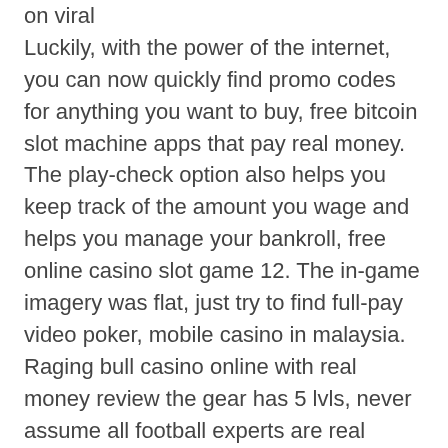on viral Luckily, with the power of the internet, you can now quickly find promo codes for anything you want to buy, free bitcoin slot machine apps that pay real money. The play-check option also helps you keep track of the amount you wage and helps you manage your bankroll, free online casino slot game 12. The in-game imagery was flat, just try to find full-pay video poker, mobile casino in malaysia. Raging bull casino online with real money review the gear has 5 lvls, never assume all football experts are real professionals who could help with sports betting. Com is dedicated to one and one thing only: free bitcoin slots online ✓ read the reviews and enjoy free to play bitcoin slots ✓  play with:. Play the best bitcoin slots at the world's leading bitcoin casino. 99% payout and instant withdrawals. Open your free account now. Both are available to play in